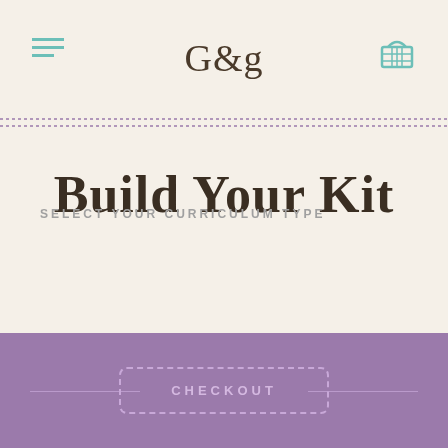G&g
Build Your Kit
SELECT YOUR CURRICULUM TYPE
CHECKOUT